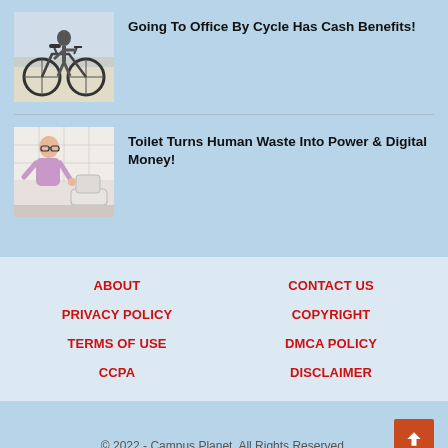[Figure (photo): Person riding bicycle, photo thumbnail for article]
Going To Office By Cycle Has Cash Benefits!
[Figure (photo): Person near toilet, photo thumbnail for article]
Toilet Turns Human Waste Into Power & Digital Money!
ABOUT
CONTACT US
PRIVACY POLICY
COPYRIGHT
TERMS OF USE
DMCA POLICY
CCPA
DISCLAIMER
© 2022 - Campus Planet. All Rights Reserved.